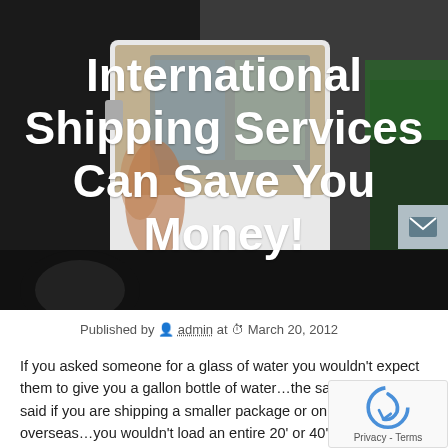[Figure (photo): Hero background photo of a white truck/vehicle cab with rust and reflections, dark background, worker visible in background with green vest]
International Shipping Services Can Save You Money!
Published by admin at March 20, 2012
If you asked someone for a glass of water you wouldn't expect them to give you a gallon bottle of water…the same can be said if you are shipping a smaller package or only 1-2 pallets overseas…you wouldn't load an entire 20' or 40' container with just one pallet!  This would be a waste of money!  As one of the best international shipping companies in the United States, International is always thinking of you, our customer.  We w never expect you to spend $3,000 on a 40' container for only